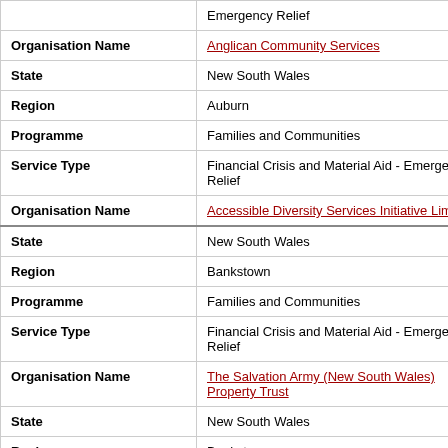| Field | Value |
| --- | --- |
|  | Emergency Relief |
| Organisation Name | Anglican Community Services |
| State | New South Wales |
| Region | Auburn |
| Programme | Families and Communities |
| Service Type | Financial Crisis and Material Aid - Emergency Relief |
| Organisation Name | Accessible Diversity Services Initiative Limited |
| State | New South Wales |
| Region | Bankstown |
| Programme | Families and Communities |
| Service Type | Financial Crisis and Material Aid - Emergency Relief |
| Organisation Name | The Salvation Army (New South Wales) Property Trust |
| State | New South Wales |
| Region | Bankstown |